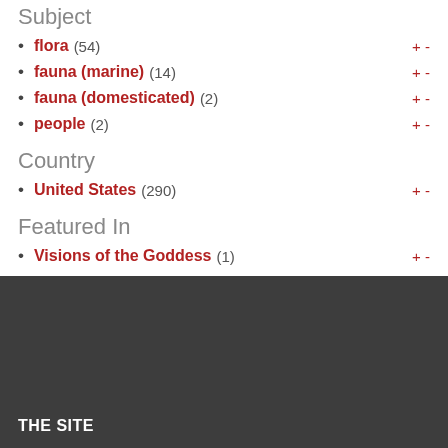Subject
flora (54)
fauna (marine) (14)
fauna (domesticated) (2)
people (2)
Country
United States (290)
Featured In
Visions of the Goddess (1)
THE SITE
About the Site